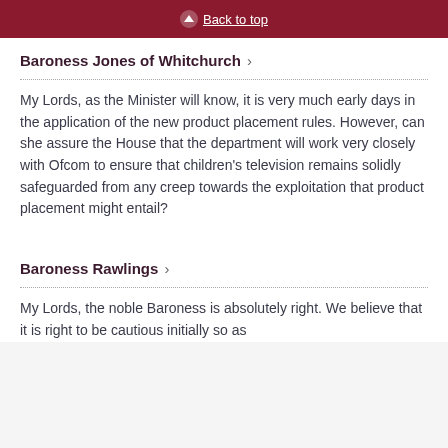Back to top
Baroness Jones of Whitchurch
My Lords, as the Minister will know, it is very much early days in the application of the new product placement rules. However, can she assure the House that the department will work very closely with Ofcom to ensure that children’s television remains solidly safeguarded from any creep towards the exploitation that product placement might entail?
Baroness Rawlings
My Lords, the noble Baroness is absolutely right. We believe that it is right to be cautious initially so as